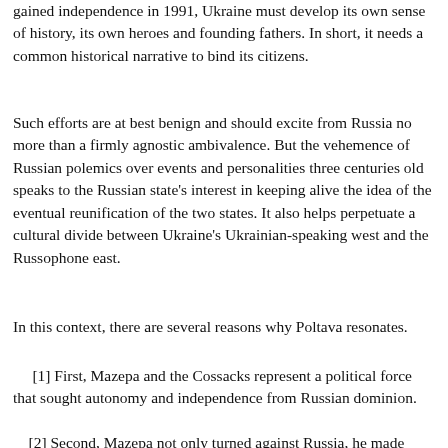gained independence in 1991, Ukraine must develop its own sense of history, its own heroes and founding fathers. In short, it needs a common historical narrative to bind its citizens.
Such efforts are at best benign and should excite from Russia no more than a firmly agnostic ambivalence. But the vehemence of Russian polemics over events and personalities three centuries old speaks to the Russian state's interest in keeping alive the idea of the eventual reunification of the two states. It also helps perpetuate a cultural divide between Ukraine's Ukrainian-speaking west and the Russophone east.
In this context, there are several reasons why Poltava resonates.
[1] First, Mazepa and the Cossacks represent a political force that sought autonomy and independence from Russian dominion.
[2] Second, Mazepa not only turned against Russia, he made common cause with Sweden,